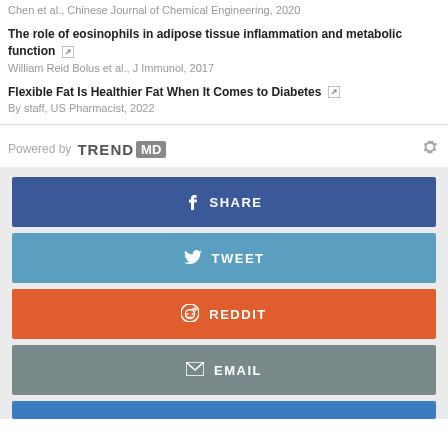Chen et al., Chinese Journal of Chemical Engineering, 2020
The role of eosinophils in adipose tissue inflammation and metabolic function
William Reid Bolus et al., J Immunol, 2017
Flexible Fat Is Healthier Fat When It Comes to Diabetes
By staff, US Pharmacist, 2022
Powered by TREND MD
[Figure (infographic): Social sharing buttons: SHARE (Facebook, blue), TWEET (Twitter, light blue), REDDIT (orange), EMAIL (grey), and a partial blue button at the bottom]